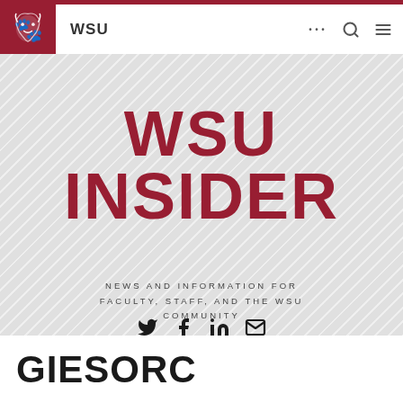[Figure (logo): WSU Cougar logo on dark red background in navigation bar]
WSU
WSU INSIDER
NEWS AND INFORMATION FOR FACULTY, STAFF, AND THE WSU COMMUNITY
[Figure (other): Social media icons: Twitter, Facebook, LinkedIn, Email]
GIESORC